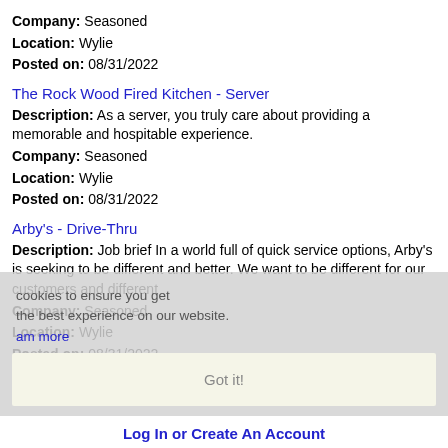Company: Seasoned
Location: Wylie
Posted on: 08/31/2022
The Rock Wood Fired Kitchen - Server
Description: As a server, you truly care about providing a memorable and hospitable experience.
Company: Seasoned
Location: Wylie
Posted on: 08/31/2022
Arby's - Drive-Thru
Description: Job brief In a world full of quick service options, Arby's is seeking to be different and better. We want to be different for our customers and different
Company: Seasoned
Location: Wylie
Posted on: 08/31/2022
cookies to ensure you get the best experience on our website. Learn more
Got it!
Loading more jobs...
Log In or Create An Account